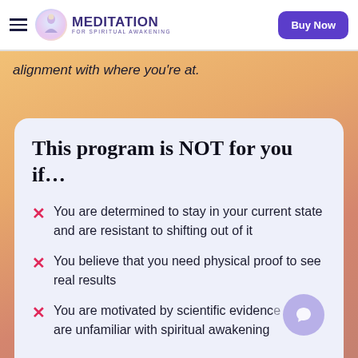MEDITATION FOR SPIRITUAL AWAKENING — Buy Now
alignment with where you're at.
This program is NOT for you if…
You are determined to stay in your current state and are resistant to shifting out of it
You believe that you need physical proof to see real results
You are motivated by scientific evidence and are unfamiliar with spiritual awakening